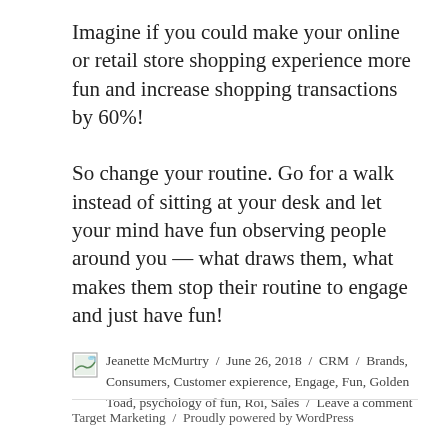Imagine if you could make your online or retail store shopping experience more fun and increase shopping transactions by 60%!
So change your routine. Go for a walk instead of sitting at your desk and let your mind have fun observing people around you — what draws them, what makes them stop their routine to engage and just have fun!
Jeanette McMurtry / June 26, 2018 / CRM / Brands, Consumers, Customer expierence, Engage, Fun, Golden Toad, psychology of fun, Roi, Sales / Leave a comment
Target Marketing / Proudly powered by WordPress